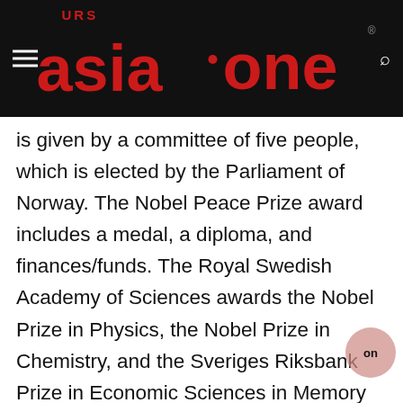[Figure (logo): URS Asia One logo on black background header bar with hamburger menu icon on left and search icon on right]
is given by a committee of five people, which is elected by the Parliament of Norway. The Nobel Peace Prize award includes a medal, a diploma, and finances/funds. The Royal Swedish Academy of Sciences awards the Nobel Prize in Physics, the Nobel Prize in Chemistry, and the Sveriges Riksbank Prize in Economic Sciences in Memory of Alfred Nobel; the Nobel Assembly at the Karolinska Institute bestows the Nobel Prize in Physiology or Medicine; and the Swedish Academy grants the Nobel Prize in Literature. The Nobel Prize in Physics 2018 was awarded for path-breaking inventions in the area of laser physics jointly to Arthur Ashkin for the optical tweezers and their application to biological systems, and to Gerard Mourou and Donna